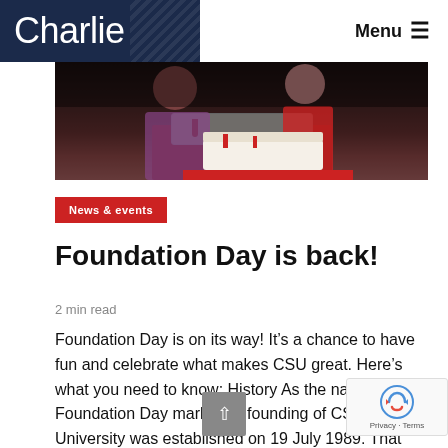Charlie | Menu
[Figure (photo): Two people cutting a white frosted cake on a red tablecloth at a dark-background event]
News & events
Foundation Day is back!
2 min read
Foundation Day is on its way! It’s a chance to have fun and celebrate what makes CSU great. Here’s what you need to know: History As the name implies, Foundation Day marks the founding of CSU. The University was established on 19 July 1989. That was…